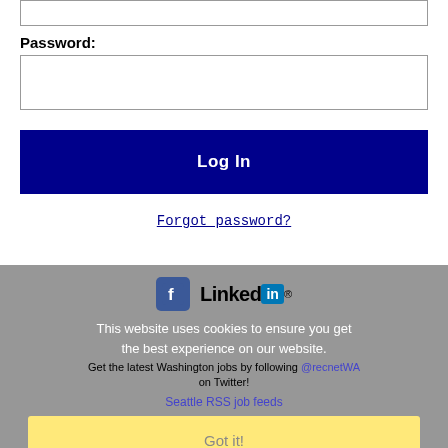(top input field - partial)
Password:
(password input field)
Log In
Forgot password?
[Figure (screenshot): Gray overlay section with Facebook and LinkedIn icons, cookie notice overlay, Twitter jobs text, Seattle RSS job feeds link, and Got it! button]
This website uses cookies to ensure you get the best experience on our website.
Get the latest Washington jobs by following @recnetWA on Twitter!
Seattle RSS job feeds
Got it!